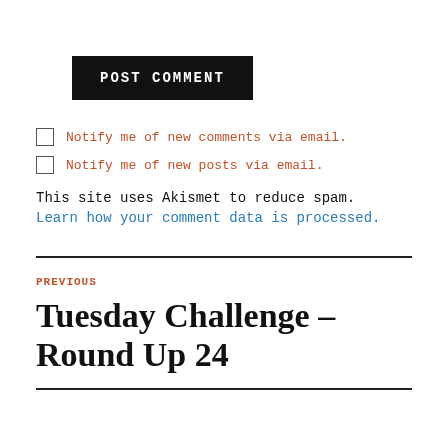POST COMMENT
Notify me of new comments via email.
Notify me of new posts via email.
This site uses Akismet to reduce spam.
Learn how your comment data is processed.
PREVIOUS
Tuesday Challenge – Round Up 24